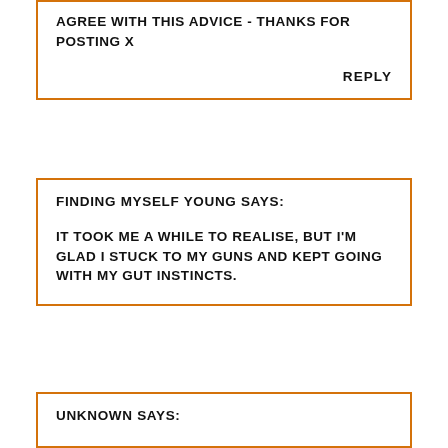AGREE WITH THIS ADVICE - THANKS FOR POSTING X
REPLY
FINDING MYSELF YOUNG SAYS:
IT TOOK ME A WHILE TO REALISE, BUT I'M GLAD I STUCK TO MY GUNS AND KEPT GOING WITH MY GUT INSTINCTS.
UNKNOWN SAYS: